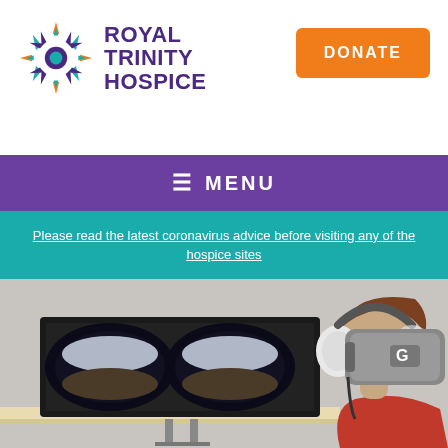ROYAL TRINITY HOSPICE
DONATE
≡ MENU
Please read the latest coronavirus advice before visiting any of the hospice sites
[Figure (photo): Person wearing VR headset and headphones looking at a monitor showing VR content]